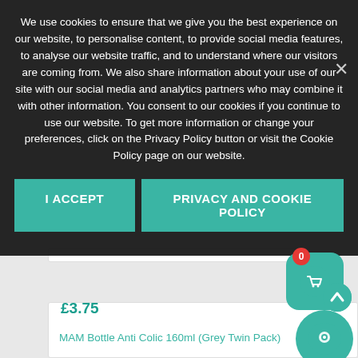We use cookies to ensure that we give you the best experience on our website, to personalise content, to provide social media features, to analyse our website traffic, and to understand where our visitors are coming from. We also share information about your use of our site with our social media and analytics partners who may combine it with other information. You consent to our cookies if you continue to use our website. To get more information or change your preferences, click on the Privacy Policy button or visit the Cookie Policy page on our website.
I ACCEPT
PRIVACY AND COOKIE POLICY
£3.75
MAM Bottle Anti Colic 160ml (Grey Twin Pack)